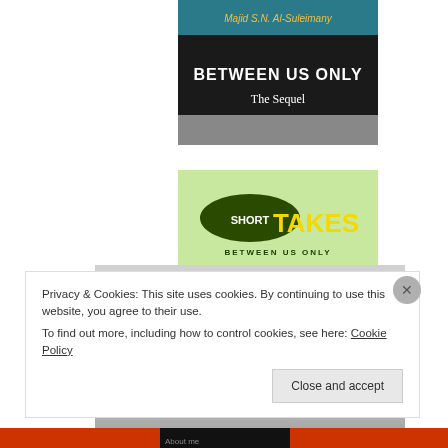[Figure (photo): Book cover: 'Between Us Only The Sequel' by Majid S.N. Al-Suleimany, black background with teal stripe at top]
[Figure (photo): Book cover: 'Short Takes Between Us Only' with green background, dark oval badge with 'SHORT' text and yellow 'TAKES' in large letters]
[Figure (photo): Book cover: 'Between Us Only! The Sequel 3' with silver/grey gradient background and metallic 3D lettering]
Privacy & Cookies: This site uses cookies. By continuing to use this website, you agree to their use.
To find out more, including how to control cookies, see here: Cookie Policy
Close and accept